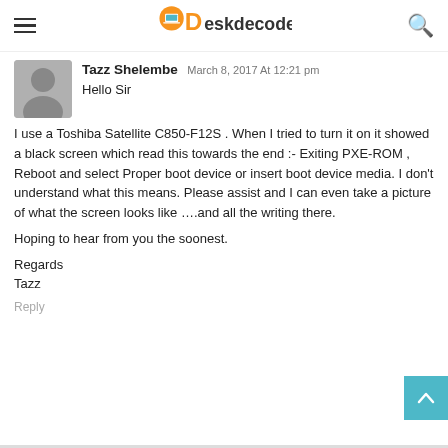DeskDecode
Tazz Shelembe March 8, 2017 At 12:21 pm

Hello Sir

I use a Toshiba Satellite C850-F12S . When I tried to turn it on it showed a black screen which read this towards the end :- Exiting PXE-ROM , Reboot and select Proper boot device or insert boot device media. I don't understand what this means. Please assist and I can even take a picture of what the screen looks like ….and all the writing there.

Hoping to hear from you the soonest.

Regards
Tazz
Reply